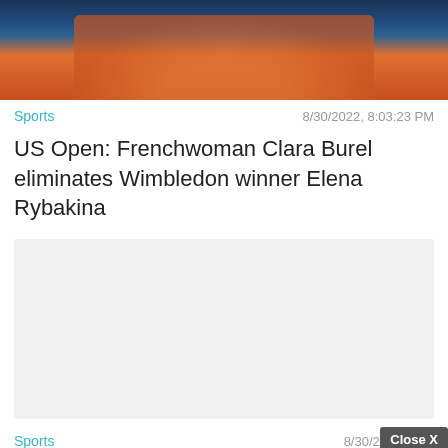[Figure (photo): Tennis player in orange outfit holding a racket, against a blue background, partially cropped at top of page]
Sports
8/30/2022, 8:03:23 PM
US Open: Frenchwoman Clara Burel eliminates Wimbledon winner Elena Rybakina
[Figure (other): Gray advertisement placeholder box]
Sports
8/30/2022, 7:5...
Close X
[Figure (other): Solitaire game advertisement with green background, golden Solitaire text, playing cards graphic, and Play Now button]